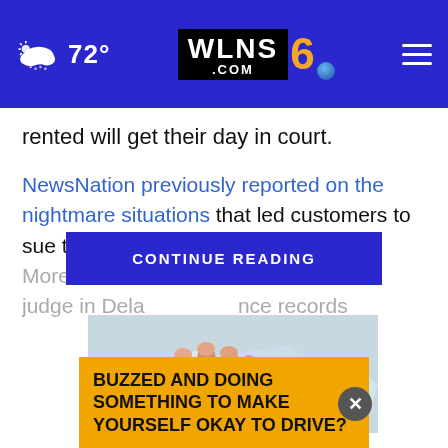72° WLNS6.COM
rented will get their day in court.
NewsNation previously reported on the nightmare situations that led customers to sue the rental giant last year. More [CONTINUE READING] d a federal judge in Dela nce records
[Figure (photo): A hand resting on ice cubes, close-up photo]
BUZZED AND DOING SOMETHING TO MAKE YOURSELF OKAY TO DRIVE?